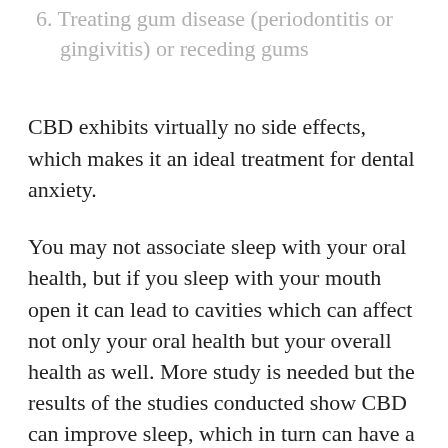6.  Treating gum disease (periodontitis or gingivitis) or receding gums
CBD exhibits virtually no side effects, which makes it an ideal treatment for dental anxiety.
You may not associate sleep with your oral health, but if you sleep with your mouth open it can lead to cavities which can affect not only your oral health but your overall health as well. More study is needed but the results of the studies conducted show CBD can improve sleep, which in turn can have a positive effect on your oral health.
Nausea and upset stomach following dental work, especially when those procedures involve anesthesia, can be also be a source of fear about going to the dentist. If you expect anesthesia because of a procedure like wisdom tooth